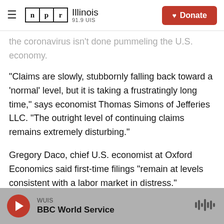NPR Illinois 91.9 UIS | Donate
the coronavirus isn't done pummeling the U.S. economy.
"Claims are slowly, stubbornly falling back toward a 'normal' level, but it is taking a frustratingly long time," says economist Thomas Simons of Jefferies LLC. "The outright level of continuing claims remains extremely disturbing."
Gregory Daco, chief U.S. economist at Oxford Economics said first-time filings "remain at levels consistent with a labor market in distress."
WUIS BBC World Service